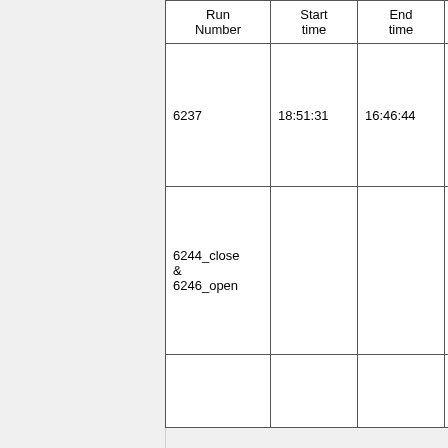| Run Number | Start time | End time | Notes |
| --- | --- | --- | --- |
| 6237 | 18:51:31 | 16:46:44 | shutter V_GEM V_cat= [chart] |
| 6244_close & 6246_open |  |  | shutter and clo V_GEM V_cat= 6 db att [chart] |
|  |  |  | shutter and clo |